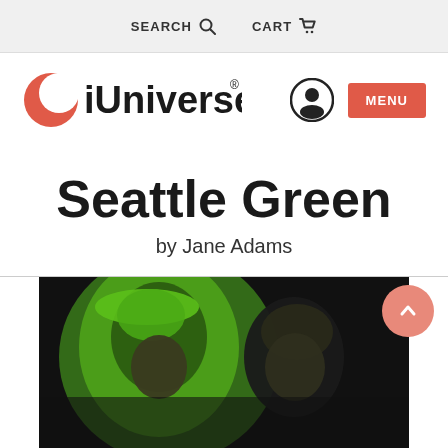SEARCH  CART
[Figure (logo): iUniverse logo with orange crescent moon icon and bold text, user account icon circle, and red MENU button]
Seattle Green
by Jane Adams
[Figure (photo): Book cover image showing two women with green tones, vintage style illustration against dark background]